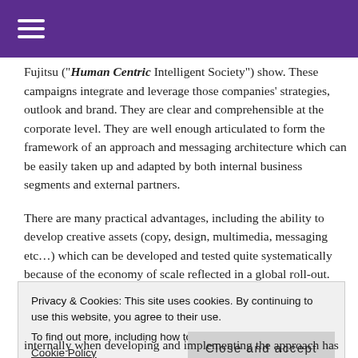Fujitsu (“Human Centric Intelligent Society”) show. These campaigns integrate and leverage those companies’ strategies, outlook and brand. They are clear and comprehensible at the corporate level. They are well enough articulated to form the framework of an approach and messaging architecture which can be easily taken up and adapted by both internal business segments and external partners.
There are many practical advantages, including the ability to develop creative assets (copy, design, multimedia, messaging etc…) which can be developed and tested quite systematically because of the economy of scale reflected in a global roll-out.
Privacy & Cookies: This site uses cookies. By continuing to use this website, you agree to their use.
To find out more, including how to control cookies, see here: Cookie Policy
internally when developing and implementing the approach has